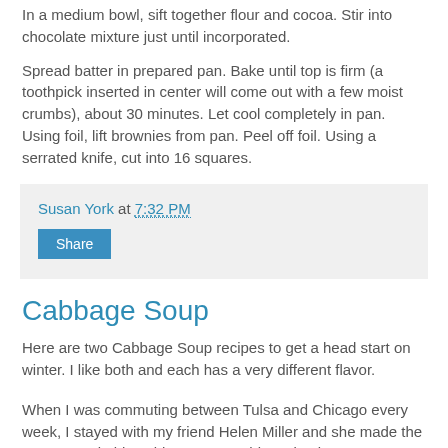In a medium bowl, sift together flour and cocoa. Stir into chocolate mixture just until incorporated.
Spread batter in prepared pan. Bake until top is firm (a toothpick inserted in center will come out with a few moist crumbs), about 30 minutes. Let cool completely in pan. Using foil, lift brownies from pan. Peel off foil. Using a serrated knife, cut into 16 squares.
Susan York at 7:32 PM
Share
Cabbage Soup
Here are two Cabbage Soup recipes to get a head start on winter. I like both and each has a very different flavor.
When I was commuting between Tulsa and Chicago every week, I stayed with my friend Helen Miller and she made the most remarkable cabbage soup. This recipe is an